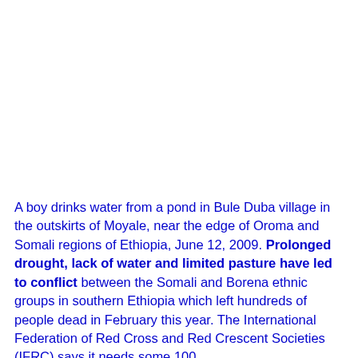A boy drinks water from a pond in Bule Duba village in the outskirts of Moyale, near the edge of Oroma and Somali regions of Ethiopia, June 12, 2009. Prolonged drought, lack of water and limited pasture have led to conflict between the Somali and Borena ethnic groups in southern Ethiopia which left hundreds of people dead in February this year. The International Federation of Red Cross and Red Crescent Societies (IFRC) says it needs some 100